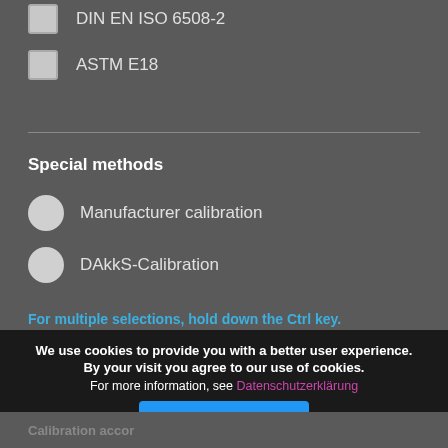DIN EN ISO 6508-2
ASTM E18
Special methods
Manufacturer calibration
DAkkS-Calibration
For multiple selections, hold down the Ctrl key.
We use cookies to provide you with a better user experience. By your visit you agree to our use of cookies. For more information, see Datenschutzerklärung
Calibration accor...